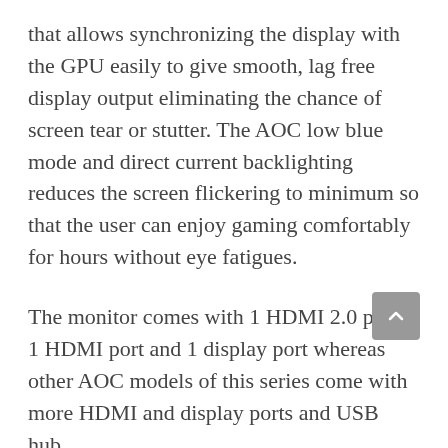that allows synchronizing the display with the GPU easily to give smooth, lag free display output eliminating the chance of screen tear or stutter. The AOC low blue mode and direct current backlighting reduces the screen flickering to minimum so that the user can enjoy gaming comfortably for hours without eye fatigues.
The monitor comes with 1 HDMI 2.0 port, 1 HDMI port and 1 display port whereas other AOC models of this series come with more HDMI and display ports and USB hub.
The AOC CQ32G1's 1800R curved monitor gives